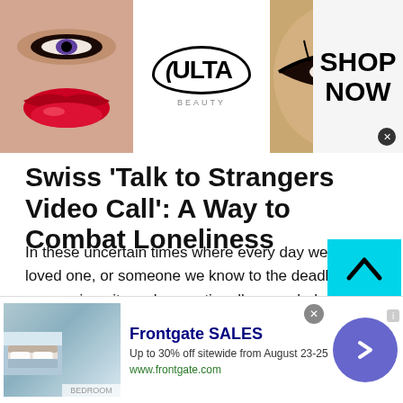[Figure (illustration): Ulta Beauty advertisement banner with makeup imagery — close-up lips with red lipstick, eye with makeup brush, Ulta Beauty logo in oval, dramatic eye with dark makeup, and 'SHOP NOW' text with close button]
Swiss 'Talk to Strangers Video Call': A Way to Combat Loneliness
In these uncertain times where every day we lose a loved one, or someone we know to the deadly coronavirus, it can be emotionally overwhelming for a person. In addition to this, the inability to go to public places and the lack of recreation in one's lives can reduce our social interactions by a huge degree.
Studies suggest people have developed increasing
[Figure (screenshot): Frontgate SALES advertisement — bedroom image on left, text 'Frontgate SALES Up to 30% off sitewide from August 23-25 www.frontgate.com', blue circular arrow button on right, and close/info buttons]